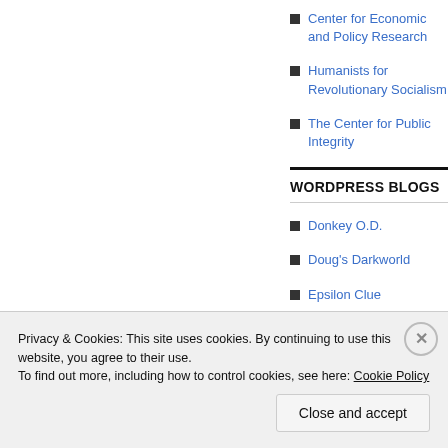Center for Economic and Policy Research
Humanists for Revolutionary Socialism
The Center for Public Integrity
WORDPRESS BLOGS
Donkey O.D.
Doug's Darkworld
Epsilon Clue
Mo... Pi...
Privacy & Cookies: This site uses cookies. By continuing to use this website, you agree to their use.
To find out more, including how to control cookies, see here: Cookie Policy
Close and accept